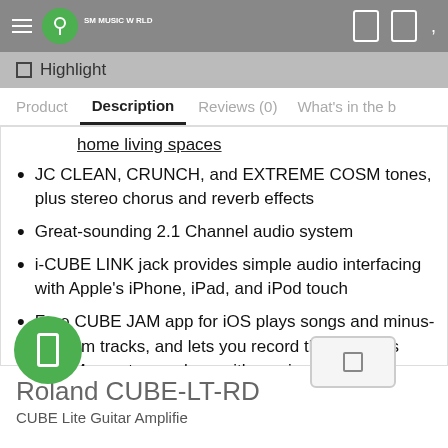SM Music World - navigation bar with hamburger menu and logo
Highlight
Product | Description | Reviews (0) | What's in the b
home living spaces
JC CLEAN, CRUNCH, and EXTREME COSM tones, plus stereo chorus and reverb effects
Great-sounding 2.1 Channel audio system
i-CUBE LINK jack provides simple audio interfacing with Apple's iPhone, iPad, and iPod touch
Free CUBE JAM app for iOS plays songs and minus-one jam tracks, and lets you record the CUBE Lite's COSM amp tones along with music playback
Roland CUBE-LT-RD
CUBE Lite Guitar Amplifier